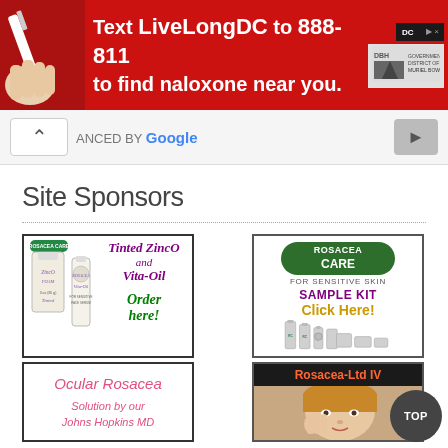[Figure (infographic): Red banner advertisement: Text LiveLongDC to 888-811 to find naloxone near you. DC and DOH logos on right.]
ANCED BY Google
Site Sponsors
[Figure (infographic): Rosacea Care product ad: Tinted ZincO and Vita-Oil. Order here!]
[Figure (infographic): Rosacea Care For Sensitive Skin. Sample Kit. Click Here!]
[Figure (infographic): Ocular Rosacea. Solution by our Johns Hopkins MD]
[Figure (infographic): Rosacea-Ltd IV with woman's face]